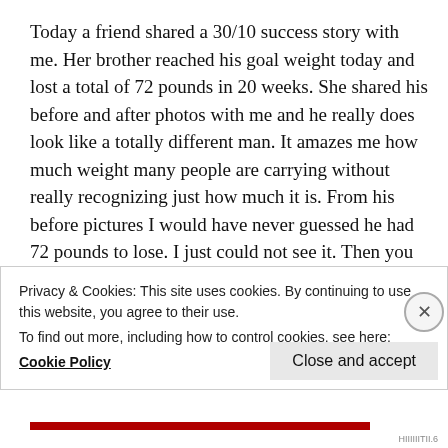Today a friend shared a 30/10 success story with me. Her brother reached his goal weight today and lost a total of 72 pounds in 20 weeks. She shared his before and after photos with me and he really does look like a totally different man. It amazes me how much weight many people are carrying without really recognizing just how much it is. From his before pictures I would have never guessed he had 72 pounds to lose. I just could not see it. Then you check out the after pics and you can see where he released it. Weight is such a tricky thing, it is
Privacy & Cookies: This site uses cookies. By continuing to use this website, you agree to their use.
To find out more, including how to control cookies, see here:
Cookie Policy
Close and accept